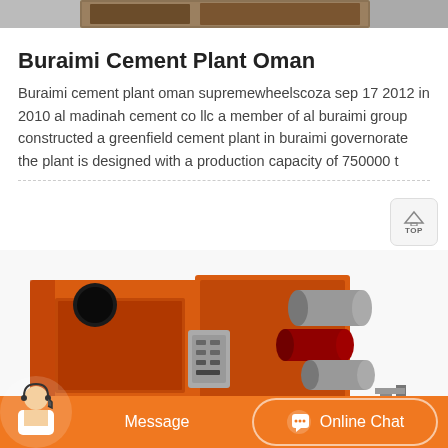[Figure (photo): Partial top image showing industrial/cement plant machinery, cropped at top of page]
Buraimi Cement Plant Oman
Buraimi cement plant oman supremewheelscoza sep 17 2012 in 2010 al madinah cement co llc a member of al buraimi group constructed a greenfield cement plant in buraimi governorate the plant is designed with a production capacity of 750000 t
[Figure (photo): 3D render of orange industrial vibrating screen / sieving machine with motors and control panel]